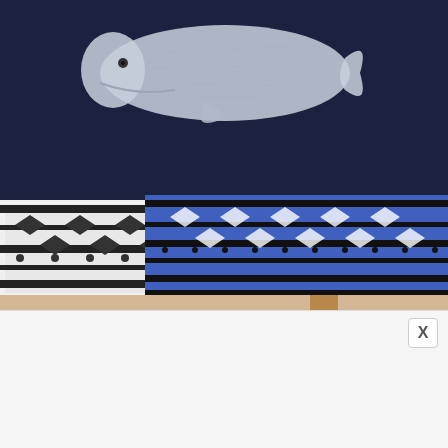[Figure (photo): Close-up photo of someone wearing a dark navy blue top with a white whale graphic print near the top, over patterned shorts with blue, white, and black geometric/aztec design. Indoor setting with beige tile floor and wooden furniture leg visible at bottom.]
[Figure (photo): Advertisement banner. Shows an image of a blonde woman on a beach in a blue swimsuit on the left. Clover app four-leaf clover logo icon in center. Text: 'Clover-Live Stream Dating' with 'Download' link.]
Ad
Clover-Live Stream Dating
Download